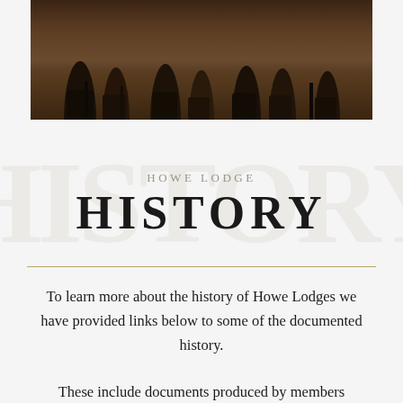[Figure (photo): Sepia-toned historical photograph showing legs and boots of people, likely from the 19th or early 20th century, cropped to show only the lower portion of figures standing on a wooden floor.]
HOWE LODGE
HISTORY
To learn more about the history of Howe Lodges we have provided links below to some of the documented history.
These include documents produced by members